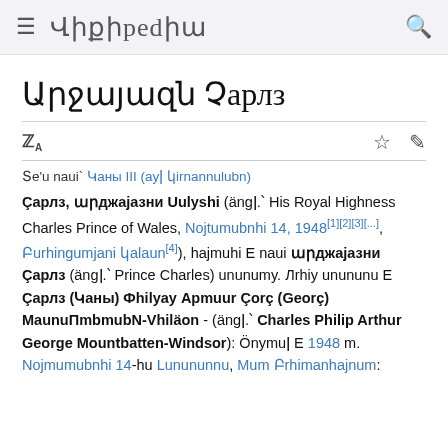≡  ՎԻՔԻՊԵԴԻԱ  🔍
Արջայազն Չարլզ
Տե՛ս նաև՝ Կառլ III (այլ կիրառումներ)
Չарлз, արջայазни Ուելshi (անgl.` His Royal Highness Charles Prince of Wales, Նoyтémбeри 14, 1948[1][2][3][...], Բuрghingеmян palatun[4]), haytuni E naw արджayazni Çarily (անgl.` Prince Charles) անnunvy. Лrihy անnunu E Չarly (Kары) Philha Artour Çorç (George) MauntlПтetеn-Vindzor - (անgl.` Charles Philip Arthur George Mountbatten-Windsor): Tsnytel E 1948 p. Noyтémbeри 14-hu Londnnum, Метс Britanyaynum: